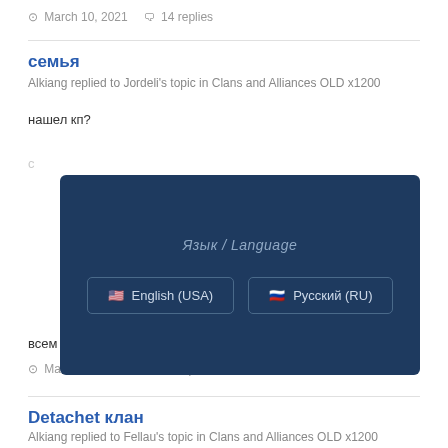March 10, 2021   14 replies
семья
Alkiang replied to Jordeli's topic in Clans and Alliances OLD x1200
нашел кп?
[Figure (other): Language selection modal overlay with two buttons: English (USA) and Русский (RU), on a dark blue background with title 'Язык / Language']
всем фана)
March 10, 2021   63 replies
Detachet клан
Alkiang replied to Fellau's topic in Clans and Alliances OLD x1200
ясно)